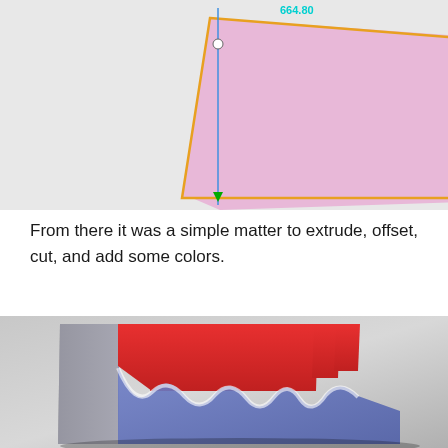[Figure (screenshot): CAD sketch view showing a pink/lavender quadrilateral shape with orange outline, a blue vertical construction line, dimension annotation reading 664.80, and constraint markers on a light gray background.]
From there it was a simple matter to extrude, offset, cut, and add some colors.
[Figure (photo): 3D rendered model of an accordion/wave-shaped object with red top fins, blue-gray flat side panels, and a white/light interior, shown on a gray gradient background. The shape resembles a corrugated fin heat sink or document holder.]